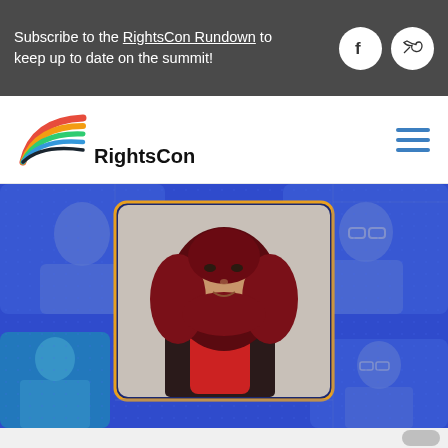Subscribe to the RightsCon Rundown to keep up to date on the summit!
[Figure (logo): RightsCon logo with rainbow flag-like swoosh graphic and 'RightsCon' wordmark in bold black]
[Figure (screenshot): Screenshot of a video conference call showing a woman wearing a dark maroon hijab in the main/active speaker window (highlighted with orange border), with other participants visible in smaller video tiles in the background. The background has a blue/purple digital graphic design.]